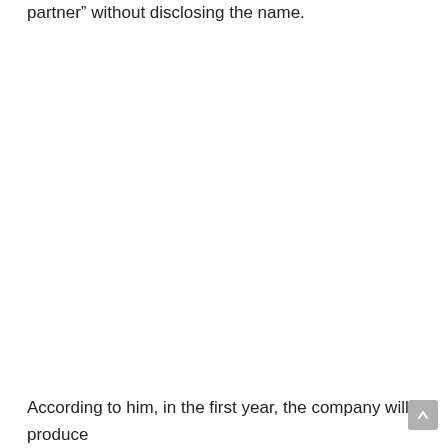partner” without disclosing the name.
According to him, in the first year, the company will produce